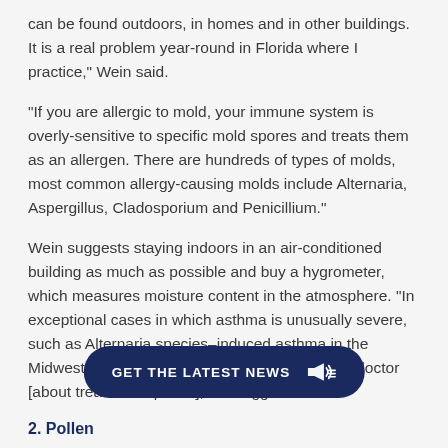can be found outdoors, in homes and in other buildings. It is a real problem year-round in Florida where I practice," Wein said.
"If you are allergic to mold, your immune system is overly-sensitive to specific mold spores and treats them as an allergen. There are hundreds of types of molds, most common allergy-causing molds include Alternaria, Aspergillus, Cladosporium and Penicillium."
Wein suggests staying indoors in an air-conditioned building as much as possible and buy a hygrometer, which measures moisture content in the atmosphere. "In exceptional cases in which asthma is unusually severe, such as Alternaria species–induced asthma in the Midwest, it might be advisable to chat with your doctor [about treatment options]," he suggested.
2. Pollen
Pollen, the airborne allergen behind hay fever, is one of the most common aero-allergens … Especially on days with high … irritant may experience seasonal allergy symptoms such as
[Figure (other): GET THE LATEST NEWS call-to-action button with megaphone icon overlay at the bottom of the page]